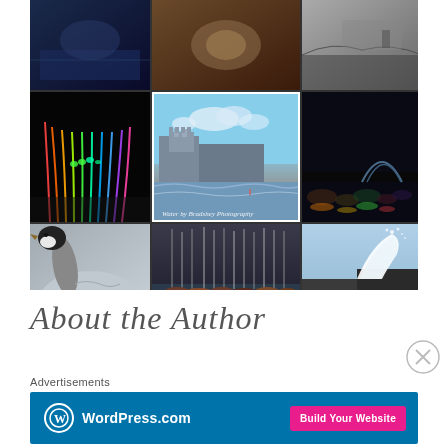[Figure (photo): A collage of water-themed photographs arranged in a 3x3 grid. Center image shows a castle on a cliff by the sea with text 'Water by Bradshey Photography'. Other images include: night fountains with colorful lights, a city bridge in black and white, an animal/fur photo, a goose close-up, a marina with boats, crashing waves on rocks, and night amusement park lights reflected in water.]
About the Author
Advertisements
[Figure (screenshot): WordPress.com advertisement banner with blue background. Left side shows WordPress logo (circle with W) and text 'WordPress.com'. Right side has a pink/magenta button that says 'Build Your Website'.]